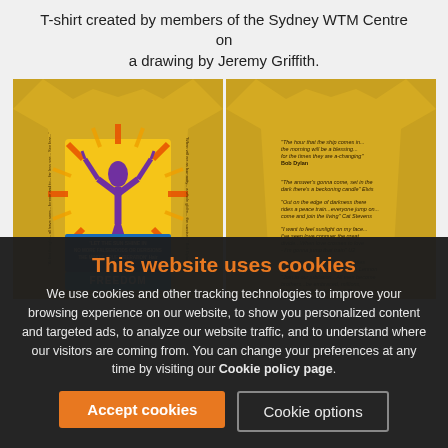T-shirt created by members of the Sydney WTM Centre on a drawing by Jeremy Griffith.
[Figure (photo): Two photos side by side of a man wearing a yellow T-shirt, showing the front and back of the shirt. The front has a colorful graphic with a figure raising arms in sunburst and text 'LET THE SUN SHINE IN / NO MORE FALSEHOODS OR DERISIONS / THE MIND'S TRUE LIBERATION' and 'FREEDOM'. The back has multiple printed quotes in dark text on yellow background.]
This website uses cookies
We use cookies and other tracking technologies to improve your browsing experience on our website, to show you personalized content and targeted ads, to analyze our website traffic, and to understand where our visitors are coming from. You can change your preferences at any time by visiting our Cookie policy page.
Accept cookies
Cookie options